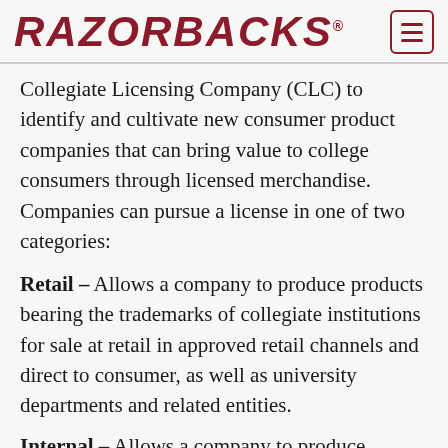RAZORBACKS®
Collegiate Licensing Company (CLC) to identify and cultivate new consumer product companies that can bring value to college consumers through licensed merchandise. Companies can pursue a license in one of two categories:
Retail – Allows a company to produce products bearing the trademarks of collegiate institutions for sale at retail in approved retail channels and direct to consumer, as well as university departments and related entities.
Internal – Allows a company to produce product bearing the trademarks of collegiate